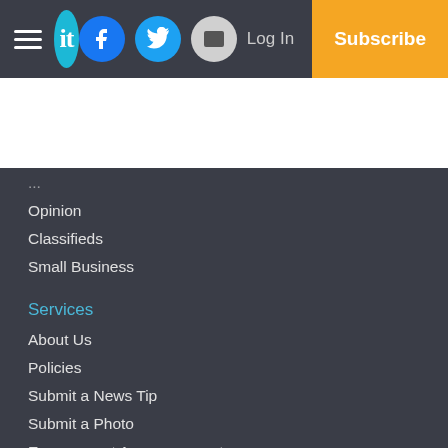it [logo] | Facebook | Twitter | Email | Log In | Subscribe
Opinion
Classifieds
Small Business
Services
About Us
Policies
Submit a News Tip
Submit a Photo
Engagement Announcement
Wedding Announcement
Submit A Classified Advertisement
Submit a Letter to the Editor
Copyright